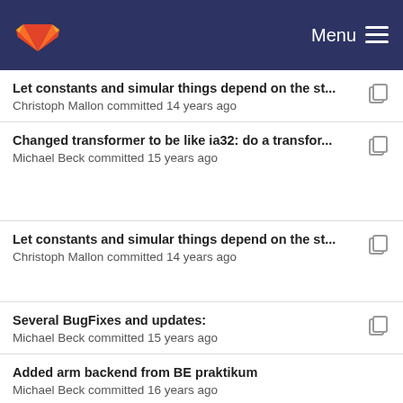GitLab — Menu
Let constants and simular things depend on the st... — Christoph Mallon committed 14 years ago
Changed transformer to be like ia32: do a transfor... — Michael Beck committed 15 years ago
Let constants and simular things depend on the st... — Christoph Mallon committed 14 years ago
Several BugFixes and updates: — Michael Beck committed 15 years ago
Added arm backend from BE praktikum — Michael Beck committed 16 years ago
removed the arm_transform_env_t structure — Michael Beck committed 16 years ago
Imprint